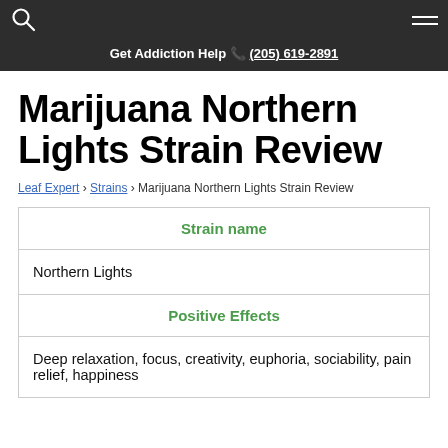Get Addiction Help (205) 619-2891
Marijuana Northern Lights Strain Review
Leaf Expert › Strains › Marijuana Northern Lights Strain Review
| Strain name | Positive Effects |
| --- | --- |
| Northern Lights |
| Deep relaxation, focus, creativity, euphoria, sociability, pain relief, happiness |